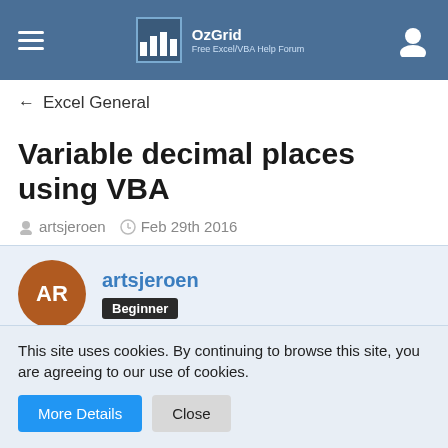OzGrid Free Excel/VBA Help Forum
← Excel General
Variable decimal places using VBA
artsjeroen  Feb 29th 2016
artsjeroen Beginner
Feb 29th 2016
This site uses cookies. By continuing to browse this site, you are agreeing to our use of cookies.
More Details  Close